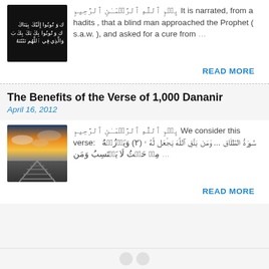[Figure (photo): Black background image with Arabic text in white]
بِسۡمِ ٱللَّهِ ٱلرَّحۡمَـٰنِ ٱلرَّحِيمِ It is narrated, from a hadits , that a blind man approached the Prophet ( s.a.w. ), and asked for a cure from ...
READ MORE
The Benefits of the Verse of 1,000 Dananir
April 16, 2012
[Figure (photo): Railway tracks extending toward sunset with clouds]
بِسۡمِ ٱللَّهِ ٱلرَّحۡمَـٰنِ ٱلرَّحِيمِ We consider this verse: سُورَةُ الطَّلاق ... وَمَن يَتَّقِ ٱللَّهَ يَجۡعَل لَّهُ ۥ (٢) وَيَرۡزُقۡهُ مِنۡ حَيۡثُ لَا يَحۡتَسِبُ وَمَن ...
READ MORE